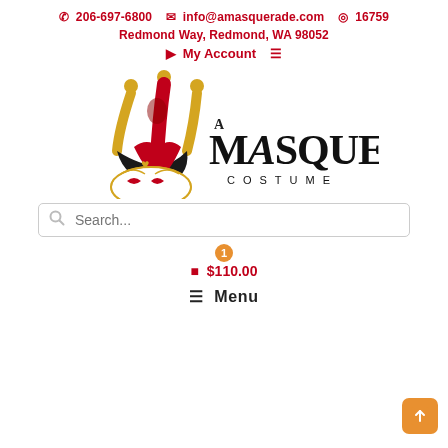📞 206-697-6800  ✉ info@amasquerade.com  📍 16759 Redmond Way, Redmond, WA 98052
👤 My Account
[Figure (logo): A Masquerade Costume logo featuring a jester mask in red, black and gold with the text 'A MASQUERADE COSTUME']
Search...
1  $110.00
☰ Menu